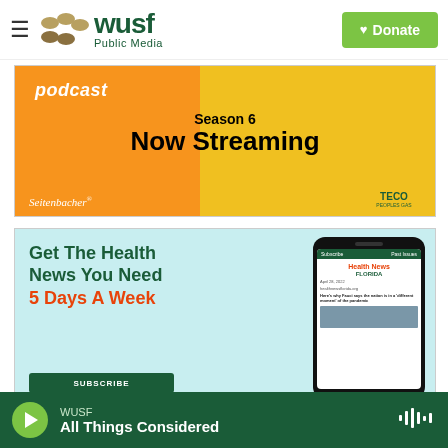WUSF Public Media — navigation bar with Donate button
[Figure (screenshot): Advertisement banner: podcast Season 6 Now Streaming, sponsored by Seitenbacher and TECO Peoples Gas, orange and yellow background]
[Figure (screenshot): Advertisement banner: Get The Health News You Need 5 Days A Week — Health News Florida newsletter signup, light blue background with phone mockup]
WUSF — All Things Considered (audio player bar)